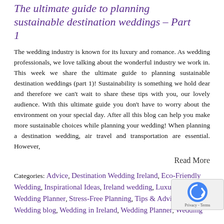The ultimate guide to planning sustainable destination weddings – Part 1
The wedding industry is known for its luxury and romance. As wedding professionals, we love talking about the wonderful industry we work in. This week we share the ultimate guide to planning sustainable destination weddings (part 1)! Sustainability is something we hold dear and therefore we can't wait to share these tips with you, our lovely audience. With this ultimate guide you don't have to worry about the environment on your special day. After all this blog can help you make more sustainable choices while planning your wedding! When planning a destination wedding, air travel and transportation are essential. However,
Read More
Categories: Advice, Destination Wedding Ireland, Eco-Friendly Wedding, Inspirational Ideas, Ireland wedding, Luxury Wedding Planner, Stress-Free Planning, Tips & Advice, Uncategorized, Wedding blog, Wedding in Ireland, Wedding Planner, Wedding